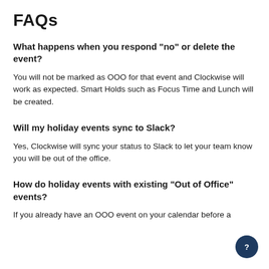FAQs
What happens when you respond "no" or delete the event?
You will not be marked as OOO for that event and Clockwise will work as expected. Smart Holds such as Focus Time and Lunch will be created.
Will my holiday events sync to Slack?
Yes, Clockwise will sync your status to Slack to let your team know you will be out of the office.
How do holiday events with existing "Out of Office" events?
If you already have an OOO event on your calendar before a